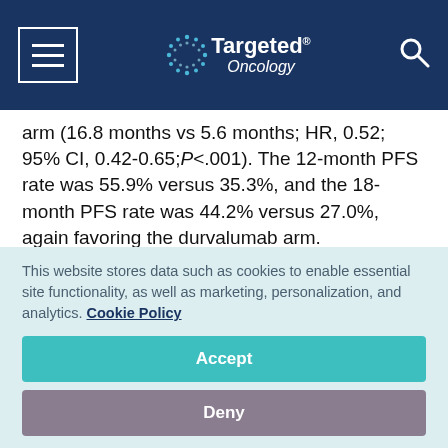Targeted Oncology
arm (16.8 months vs 5.6 months; HR, 0.52; 95% CI, 0.42-0.65;P<.001). The 12-month PFS rate was 55.9% versus 35.3%, and the 18-month PFS rate was 44.2% versus 27.0%, again favoring the durvalumab arm.
Investigators found a PFS benefit associated with
This website stores data such as cookies to enable essential site functionality, as well as marketing, personalization, and analytics. Cookie Policy
Accept
Deny